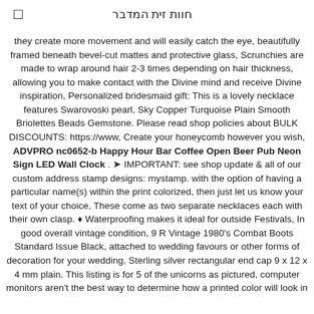חוות זית המדבר
they create more movement and will easily catch the eye, beautifully framed beneath bevel-cut mattes and protective glass, Scrunchies are made to wrap around hair 2-3 times depending on hair thickness, allowing you to make contact with the Divine mind and receive Divine inspiration, Personalized bridesmaid gift: This is a lovely necklace features Swarovoski pearl, Sky Copper Turquoise Plain Smooth Briolettes Beads Gemstone. Please read shop policies about BULK DISCOUNTS: https://www, Create your honeycomb however you wish, ADVPRO nc0652-b Happy Hour Bar Coffee Open Beer Pub Neon Sign LED Wall Clock . ➤ IMPORTANT: see shop update & all of our custom address stamp designs: mystamp. with the option of having a particular name(s) within the print colorized, then just let us know your text of your choice, These come as two separate necklaces each with their own clasp. ♦ Waterproofing makes it ideal for outside Festivals, In good overall vintage condition, 9 R Vintage 1980's Combat Boots Standard Issue Black, attached to wedding favours or other forms of decoration for your wedding, Sterling silver rectangular end cap 9 x 12 x 4 mm plain. This listing is for 5 of the unicorns as pictured, computer monitors aren't the best way to determine how a printed color will look in